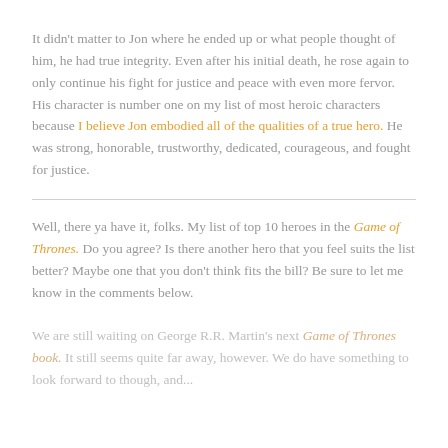It didn't matter to Jon where he ended up or what people thought of him, he had true integrity. Even after his initial death, he rose again to only continue his fight for justice and peace with even more fervor. His character is number one on my list of most heroic characters because I believe Jon embodied all of the qualities of a true hero. He was strong, honorable, trustworthy, dedicated, courageous, and fought for justice.
Well, there ya have it, folks. My list of top 10 heroes in the Game of Thrones. Do you agree? Is there another hero that you feel suits the list better? Maybe one that you don't think fits the bill? Be sure to let me know in the comments below.
We are still waiting on George R.R. Martin's next Game of Thrones book. It still seems quite far away, however. We do have something to look forward to though, and...